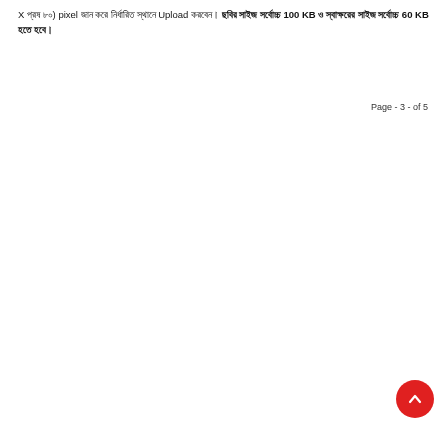X প্রষ ৮০) pixel জান করে নির্ধারিত স্থানে Upload করবেন। ছবির সাইজ সর্বোচ্চ 100 KB ও স্বাক্ষরের সাইজ সর্বোচ্চ 60 KB হতে হবে।
Page - 3 - of 5